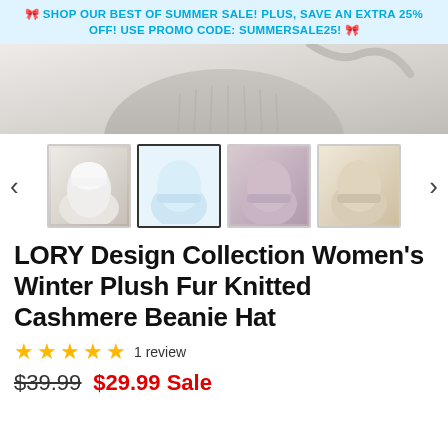🎀 SHOP OUR BEST OF SUMMER SALE! PLUS, SAVE AN EXTRA 25% OFF! USE PROMO CODE: SUMMERSALE25! 🎀
[Figure (photo): Main product image showing a knitted beanie hat from above]
[Figure (photo): Thumbnail carousel with 4 hat color variants (white on model, light blue, mauve/pink, cream/beige) and left/right navigation arrows]
LORY Design Collection Women's Winter Plush Fur Knitted Cashmere Beanie Hat
★★★★★ 1 review
$39.99  $29.99 Sale